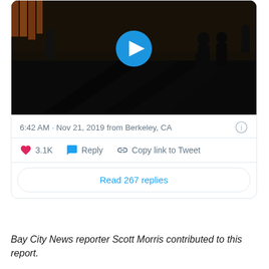[Figure (screenshot): Twitter/X embedded tweet screenshot showing a dark video thumbnail with silhouetted figures on a street, a blue play button overlay, timestamp '6:42 AM · Nov 21, 2019 from Berkeley, CA', like count 3.1K, Reply and Copy link to Tweet actions, and a 'Read 267 replies' button.]
Bay City News reporter Scott Morris contributed to this report.